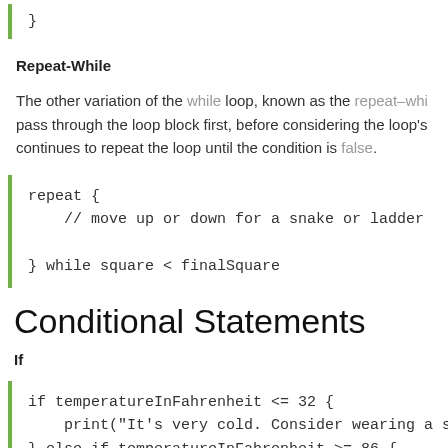[Figure (other): Code block showing closing brace: }]
Repeat-While
The other variation of the while loop, known as the repeat–whi… pass through the loop block first, before considering the loop's… continues to repeat the loop until the condition is false.
[Figure (other): Code block: repeat { // move up or down for a snake or ladder } while square < finalSquare]
Conditional Statements
If
[Figure (other): Code block: if temperatureInFahrenheit <= 32 { print("It's very cold. Consider wearing a scarf.") } else if temperatureInFahrenheit >= 86 {]